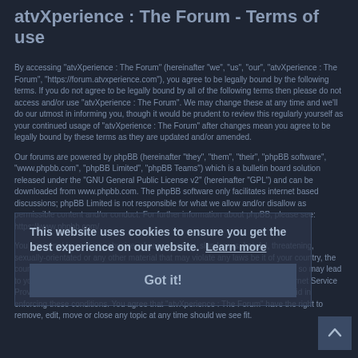atvXperience : The Forum - Terms of use
By accessing "atvXperience : The Forum" (hereinafter "we", "us", "our", "atvXperience : The Forum", "https://forum.atvxperience.com"), you agree to be legally bound by the following terms. If you do not agree to be legally bound by all of the following terms then please do not access and/or use "atvXperience : The Forum". We may change these at any time and we'll do our utmost in informing you, though it would be prudent to review this regularly yourself as your continued usage of "atvXperience : The Forum" after changes mean you agree to be legally bound by these terms as they are updated and/or amended.
Our forums are powered by phpBB (hereinafter "they", "them", "their", "phpBB software", "www.phpbb.com", "phpBB Limited", "phpBB Teams") which is a bulletin board solution released under the "GNU General Public License v2" (hereinafter "GPL") and can be downloaded from www.phpbb.com. The phpBB software only facilitates internet based discussions; phpBB Limited is not responsible for what we allow and/or disallow as permissible content and/or conduct. For further information about phpBB, please see: https://www.phpbb.com/.
You agree not to post any abusive, obscene, vulgar, slanderous, hateful, threatening, sexually-orientated or any other material that may violate any laws be it of your country, the country where "atvXperience : The Forum" is hosted or International Law. Doing so may lead to you being immediately and permanently banned, with notification of your Internet Service Provider if deemed required by us. The IP address of all posts are recorded to aid in enforcing these conditions. You agree that "atvXperience : The Forum" have the right to remove, edit, move or close any topic at any time should we see fit. As a user you agree to any information you have entered to being stored in a database. While this information will not be disclosed to any third party without your consent, neither "atvXperience : The Forum" nor phpBB shall be held responsible for any hacking attempt that may lead to the data being compromised.
This website uses cookies to ensure you get the best experience on our website. Learn more
Got it!